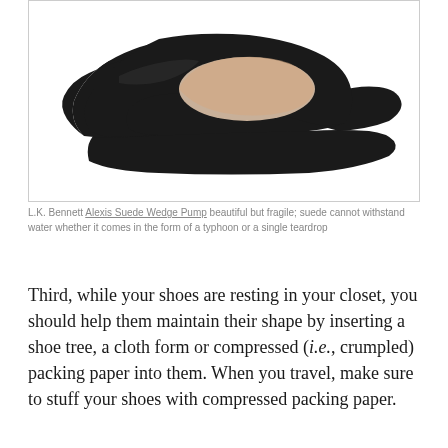[Figure (photo): A black suede wedge pump shoe (L.K. Bennett Alexis Suede Wedge Pump) photographed on white background, viewed from the side showing pointed toe and wedge heel with beige interior lining.]
L.K. Bennett Alexis Suede Wedge Pump beautiful but fragile; suede cannot withstand water whether it comes in the form of a typhoon or a single teardrop
Third, while your shoes are resting in your closet, you should help them maintain their shape by inserting a shoe tree, a cloth form or compressed (i.e., crumpled) packing paper into them. When you travel, make sure to stuff your shoes with compressed packing paper.